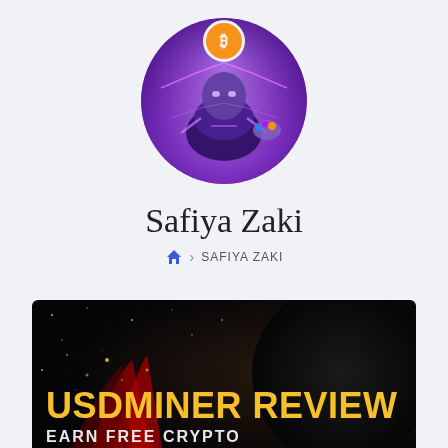[Figure (illustration): Circular profile avatar showing a purple/blue armored superhero figure (Thanos-like character) with an orange Bitcoin logo badge at the top of the circle. Background is deep purple with glowing geometric lines.]
Safiya Zaki
🏠 > SAFIYA ZAKI
[Figure (illustration): Dark banner image with a cloaked/caped figure on a dark starry background and a large dark circle on the right. Bold yellow text reads 'USDMINER REVIEW' with white text below reading 'EARN FREE CRYPTO'.]